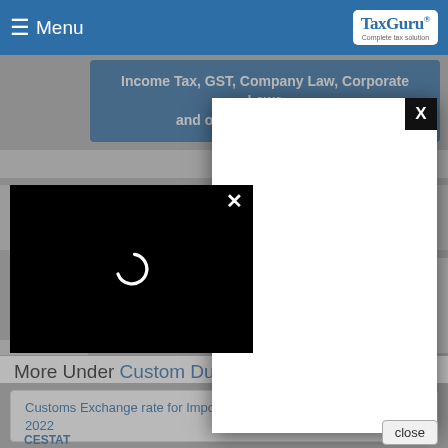Menu | TaxGuru — Complete Tax Solution
Income Tax, GST, Company Law, Corporate Laws and other related subjects.
[Figure (screenshot): White modal dialog with black X close button in top right corner, overlaying a dimmed background]
[Figure (screenshot): Black video player modal with white X close button and loading spinner (arc) in center]
More Under Custom Duty
Customs Exchange rate for Import & Export wef 3rd September, 2022
CESTAT...
close